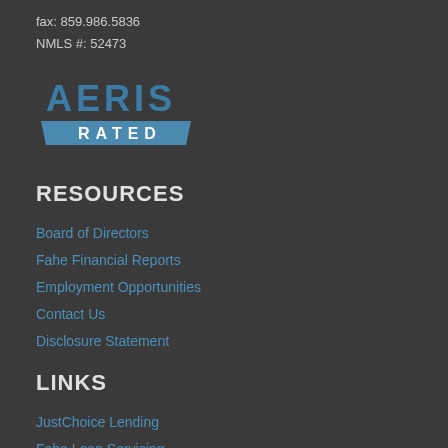fax: 859.986.5836
NMLS #: 52473
[Figure (logo): AERIS RATED logo with blue text on dark background]
RESOURCES
Board of Directors
Fahe Financial Reports
Employment Opportunities
Contact Us
Disclosure Statement
LINKS
JustChoice Lending
Fahe Loan Servicing
Fahe Conferences